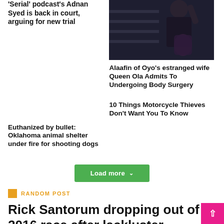'Serial' podcast's Adnan Syed is back in court, arguing for new trial
[Figure (photo): Photo of a woman in black clothing posing in front of shelves]
Alaafin of Oyo's estranged wife Queen Ola Admits To Undergoing Body Surgery
Euthanized by bullet: Oklahoma animal shelter under fire for shooting dogs
10 Things Motorcycle Thieves Don't Want You To Know
Load more
RANDOM POST
Rick Santorum dropping out of 2016 race after lackluster showing in Iowa